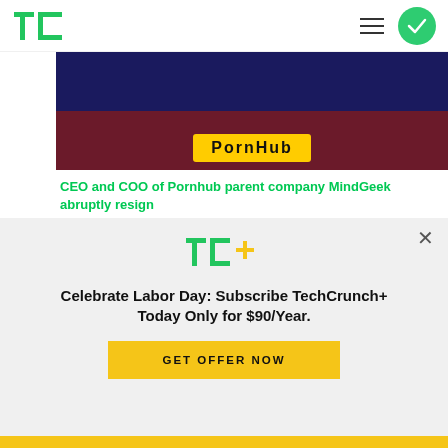TechCrunch
[Figure (photo): Pornhub/MindGeek website sign on dark background]
CEO and COO of Pornhub parent company MindGeek abruptly resign
[Figure (photo): Woman at senate hearing, appearing distressed]
Wow, Facebook really knows how to give someone a send-off!
[Figure (infographic): TechCrunch+ subscription modal overlay]
Celebrate Labor Day: Subscribe TechCrunch+ Today Only for $90/Year.
GET OFFER NOW